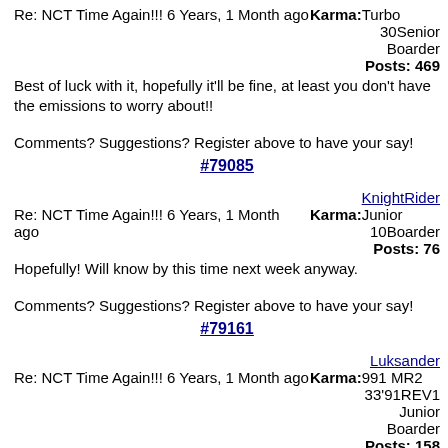Re: NCT Time Again!!! 6 Years, 1 Month ago
Karma: 30 Turbo Senior Boarder Posts: 469
Best of luck with it, hopefully it'll be fine, at least you don't have the emissions to worry about!!
Comments? Suggestions? Register above to have your say!
#79085
KnightRider
Re: NCT Time Again!!! 6 Years, 1 Month ago
Karma: 10 Junior Boarder Posts: 76
Hopefully! Will know by this time next week anyway.
Comments? Suggestions? Register above to have your say!
#79161
Luksander
Re: NCT Time Again!!! 6 Years, 1 Month ago
Karma: 33 991 MR2 '91REV1 Junior Boarder Posts: 158
hello. how is she goes?
Mine didn't start 2 weeks ago as bettery was flat. they didn't charge me for test. Next attemt is 30th July. This